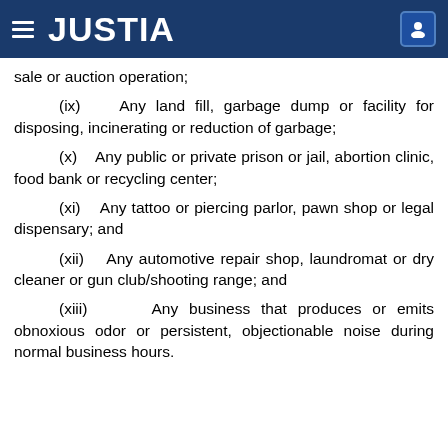JUSTIA
sale or auction operation;
(ix)   Any land fill, garbage dump or facility for disposing, incinerating or reduction of garbage;
(x)   Any public or private prison or jail, abortion clinic, food bank or recycling center;
(xi)   Any tattoo or piercing parlor, pawn shop or legal dispensary; and
(xii)   Any automotive repair shop, laundromat or dry cleaner or gun club/shooting range; and
(xiii)   Any business that produces or emits obnoxious odor or persistent, objectionable noise during normal business hours.